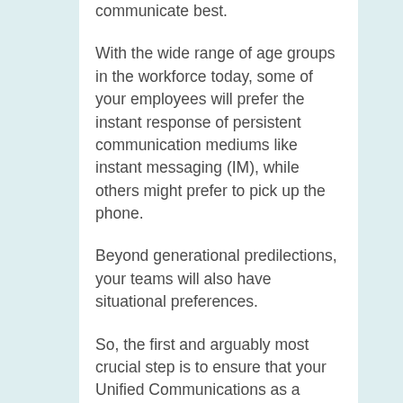communicate best.
With the wide range of age groups in the workforce today, some of your employees will prefer the instant response of persistent communication mediums like instant messaging (IM), while others might prefer to pick up the phone.
Beyond generational predilections, your teams will also have situational preferences.
So, the first and arguably most crucial step is to ensure that your Unified Communications as a Service (UCaaS) solution provides access to the